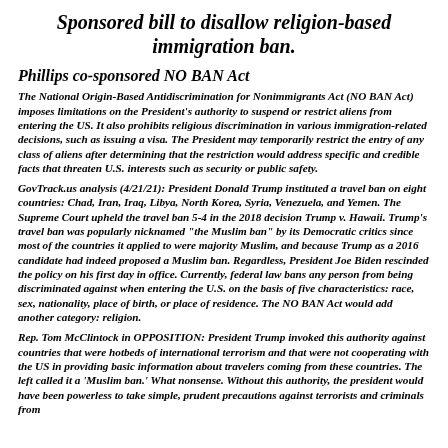Sponsored bill to disallow religion-based immigration ban.
Phillips co-sponsored NO BAN Act
The National Origin-Based Antidiscrimination for Nonimmigrants Act (NO BAN Act) imposes limitations on the President's authority to suspend or restrict aliens from entering the US. It also prohibits religious discrimination in various immigration-related decisions, such as issuing a visa. The President may temporarily restrict the entry of any class of aliens after determining that the restriction would address specific and credible facts that threaten U.S. interests such as security or public safety.
GovTrack.us analysis (4/21/21): President Donald Trump instituted a travel ban on eight countries: Chad, Iran, Iraq, Libya, North Korea, Syria, Venezuela, and Yemen. The Supreme Court upheld the travel ban 5-4 in the 2018 decision Trump v. Hawaii. Trump's travel ban was popularly nicknamed "the Muslim ban" by its Democratic critics since most of the countries it applied to were majority Muslim, and because Trump as a 2016 candidate had indeed proposed a Muslim ban. Regardless, President Joe Biden rescinded the policy on his first day in office. Currently, federal law bans any person from being discriminated against when entering the U.S. on the basis of five characteristics: race, sex, nationality, place of birth, or place of residence. The NO BAN Act would add another category: religion.
Rep. Tom McClintock in OPPOSITION: President Trump invoked this authority against countries that were hotbeds of international terrorism and that were not cooperating with the US in providing basic information about travelers coming from these countries. The left called it a 'Muslim ban.' What nonsense. Without this authority, the president would have been powerless to take simple, prudent precautions against terrorists and criminals from